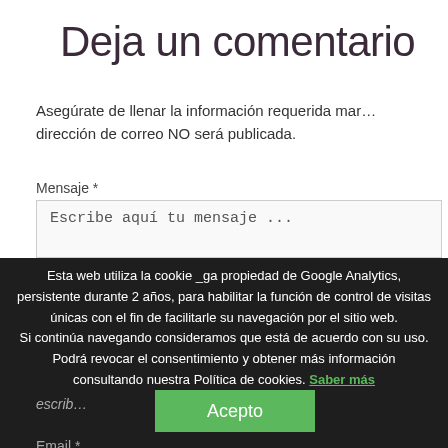Deja un comentario
Asegúrate de llenar la información requerida mar… dirección de correo NO será publicada.
Mensaje *
Escribe aquí tu mensaje ...
Esta web utiliza la cookie _ga propiedad de Google Analytics, persistente durante 2 años, para habilitar la función de control de visitas únicas con el fin de facilitarle su navegación por el sitio web. Si continúa navegando consideramos que está de acuerdo con su uso. Podrá revocar el consentimiento y obtener más información consultando nuestra Política de cookies. Saber más
Acepto
escrib…
Email *